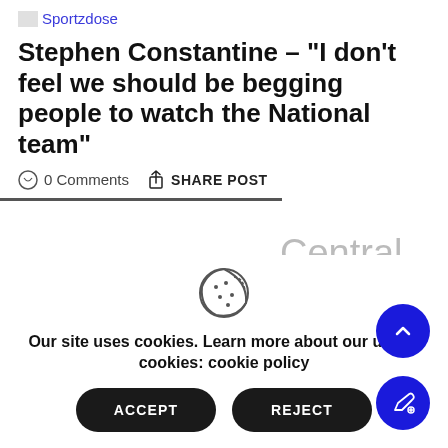Sportzdose
Stephen Constantine – "I don't feel we should be begging people to watch the National team"
0 Comments   SHARE POST
Central defender Sandesh
Our site uses cookies. Learn more about our use of cookies: cookie policy